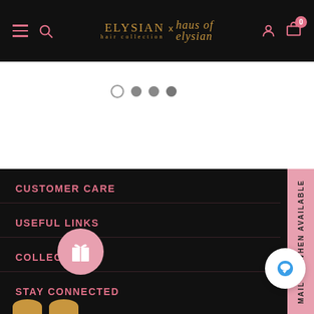ELYSIAN hair collection x Haus of Elysian — navigation bar with hamburger menu, search, user and cart icons
[Figure (screenshot): Carousel pagination dots: one outline circle and three filled grey circles]
CUSTOMER CARE
USEFUL LINKS
COLLECTIONS
STAY CONNECTED
[Figure (other): Pink vertical side tab reading MAIL ME WHEN AVAILABLE]
[Figure (other): Pink gift icon circle button]
[Figure (other): White chat bubble circle button]